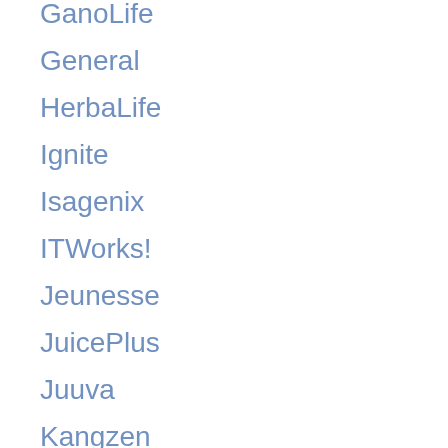GanoLife
General
HerbaLife
Ignite
Isagenix
ITWorks!
Jeunesse
JuicePlus
Juuva
Kangzen
LegalShield
LifePlus
Lifevantage
Live Smart 360
Lyoness